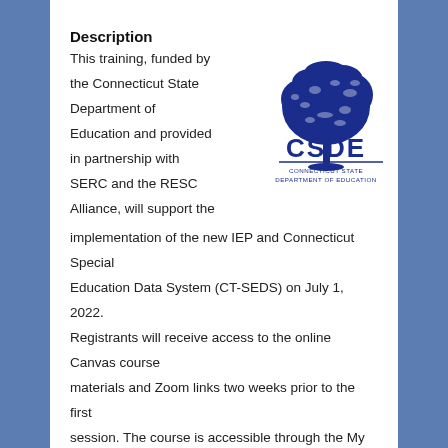Description
This training, funded by the Connecticut State Department of Education and provided in partnership with SERC and the RESC Alliance, will support the implementation of the new IEP and Connecticut Special Education Data System (CT-SEDS) on July 1, 2022. Registrants will receive access to the online Canvas course materials and Zoom links two weeks prior to the first session. The course is accessible through the My Enrollments section in Protraxx.
[Figure (logo): CSDE Connecticut State Department of Education logo — dark blue tree above text 'CSDE' with subtitle 'CONNECTICUT STATE DEPARTMENT OF EDUCATION']
Objectives
Participants will be able to understand how the IEP